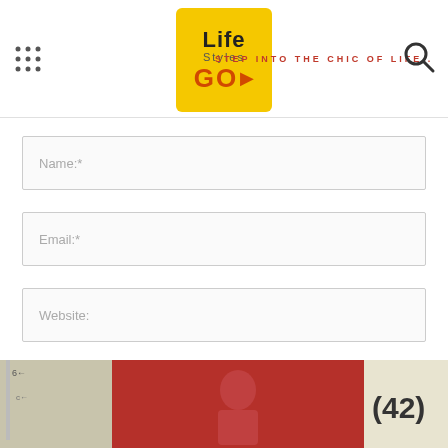Life Styles GO — STEP INTO THE CHIC OF LIFE..
Name:*
Email:*
Website:
Save my name, email, and website in this browser for the next time I comment.
POST COMMENT
[Figure (photo): Bottom strip showing partial image with number 42 visible on right side, red jersey in center]